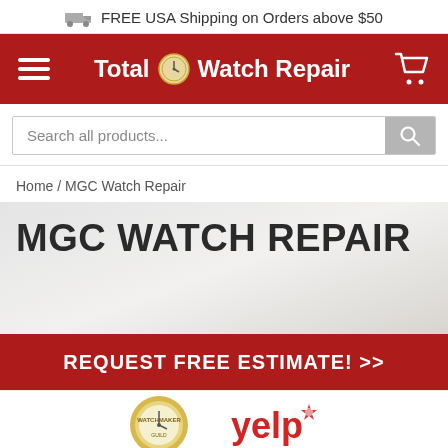FREE USA Shipping on Orders above $50
[Figure (screenshot): Total Watch Repair red navigation bar with hamburger menu, brand logo, and shopping cart icon]
Search all products...
Home / MGC Watch Repair
MGC WATCH REPAIR
REQUEST FREE ESTIMATE! >>
[Figure (logo): Watch repair certification logo (gold circular badge)]
[Figure (logo): Yelp logo]